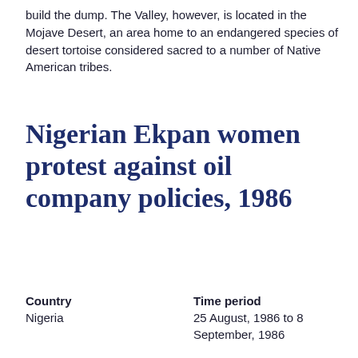build the dump. The Valley, however, is located in the Mojave Desert, an area home to an endangered species of desert tortoise considered sacred to a number of Native American tribes.
Nigerian Ekpan women protest against oil company policies, 1986
| Field | Value |
| --- | --- |
| Country | Nigeria |
| Time period | 25 August, 1986 to 8 September, 1986 |
| Classification | Defense |
| Cluster | Economic Justice
Human Rights
National/Ethnic Identity |
| Total points | 6 out of 10 points |
| Name of researcher, and date dd/mm/yyyy |  |